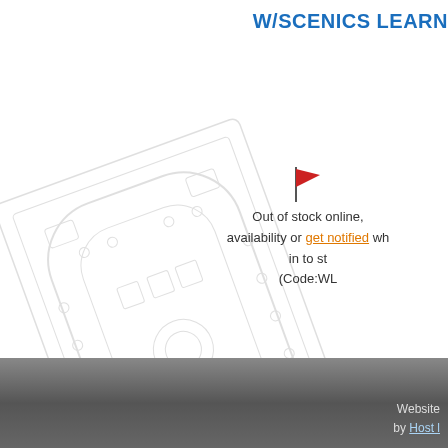W/SCENICS LEARN
[Figure (illustration): Light grey technical/engineering schematic diagram of a learning track or circuit layout, shown at an angle, partially visible on the left side of the page]
Out of stock online, availability or get notified wh in to st (Code:WL
Price: €
Displaying items
Website by Host